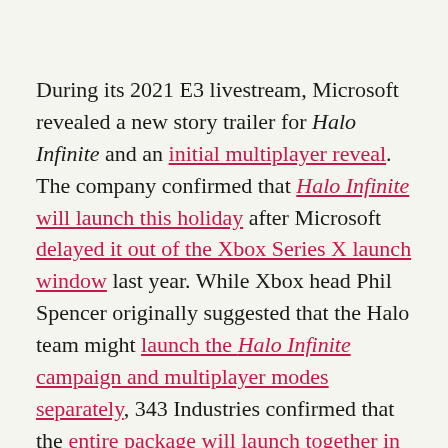During its 2021 E3 livestream, Microsoft revealed a new story trailer for Halo Infinite and an initial multiplayer reveal. The company confirmed that Halo Infinite will launch this holiday after Microsoft delayed it out of the Xbox Series X launch window last year. While Xbox head Phil Spencer originally suggested that the Halo team might launch the Halo Infinite campaign and multiplayer modes separately, 343 Industries confirmed that the entire package will launch together in 2021.
The multiplayer reveal trailer showed off a